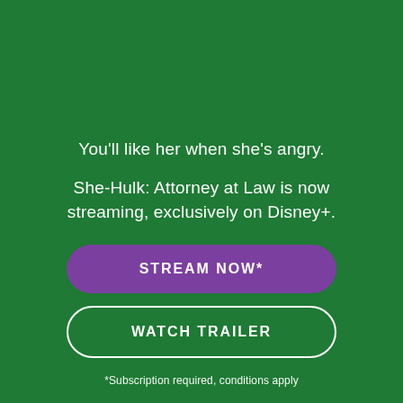You'll like her when she's angry.
She-Hulk: Attorney at Law is now streaming, exclusively on Disney+.
STREAM NOW*
WATCH TRAILER
*Subscription required, conditions apply